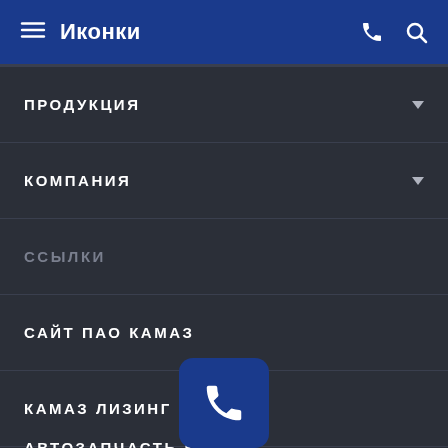Иконки
ПРОДУКЦИЯ
КОМПАНИЯ
ССЫЛКИ
САЙТ ПАО КАМАЗ
КАМАЗ ЛИЗИНГ
АВТОЗАПЧАСТЬ КАМАЗ
[Figure (illustration): Blue rounded square button with white telephone/phone handset icon (call button floating overlay)]